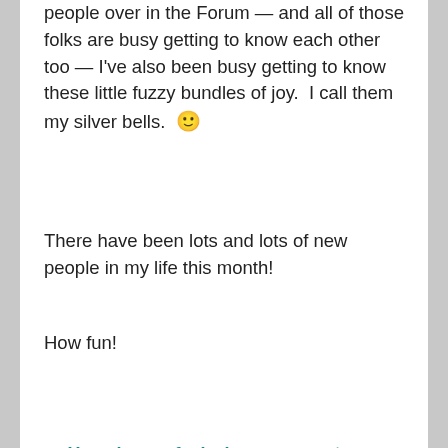people over in the Forum — and all of those folks are busy getting to know each other too — I've also been busy getting to know these little fuzzy bundles of joy.  I call them my silver bells.  🙂
There have been lots and lots of new people in my life this month!
How fun!
How do you feel when you meet new people?
How do you feel when you get to be with a tiny baby puppy?
What makes your heart smile more than a